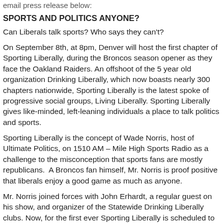email press release below:
SPORTS AND POLITICS ANYONE?
Can Liberals talk sports? Who says they can't?
On September 8th, at 8pm, Denver will host the first chapter of Sporting Liberally, during the Broncos season opener as they face the Oakland Raiders. An offshoot of the 5 year old organization Drinking Liberally, which now boasts nearly 300 chapters nationwide, Sporting Liberally is the latest spoke of progressive social groups, Living Liberally. Sporting Liberally gives like-minded, left-leaning individuals a place to talk politics and sports.
Sporting Liberally is the concept of Wade Norris, host of Ultimate Politics, on 1510 AM – Mile High Sports Radio as a challenge to the misconception that sports fans are mostly republicans.  A Broncos fan himself, Mr. Norris is proof positive that liberals enjoy a good game as much as anyone.
Mr. Norris joined forces with John Erhardt, a regular guest on his show, and organizer of the Statewide Drinking Liberally clubs. Now, for the first ever Sporting Liberally is scheduled to coincide with every Broncos game this season at highly awarded bar and grill, Jack N Grill at 2524 Federal Blvd in Denver, just minutes from Mile High Stadium. Liberals, progressives and democrats of all stripes are welcome to watch each game alongside local celebrities, including candidates, elected officials, and even some former Broncos.